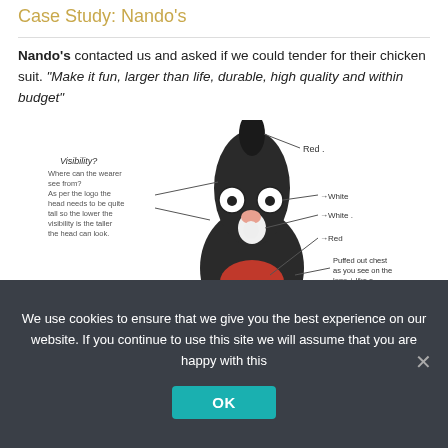Case Study: Nando's
Nando's contacted us and asked if we could tender for their chicken suit. “Make it fun, larger than life, durable, high quality and within budget”
[Figure (illustration): A hand-drawn sketch of a Nando's chicken mascot costume design with annotations. The figure is a tall black bird/chicken costume with large round white eyes, a pink beak, a red chest patch, and a puffed out chest. Handwritten labels point to various parts: 'Red' at the top (comb), 'White' for eyes, 'White' for bib/belly, 'Red' for chest, 'Puffed out chest as you see on the logo + like a cathedral chicken.' On the left side is a note: 'Visibility? Where can the wearer see from? As per the logo the head needs to be quite tall so the lower the visibility is the taller the head can look.']
We use cookies to ensure that we give you the best experience on our website. If you continue to use this site we will assume that you are happy with this